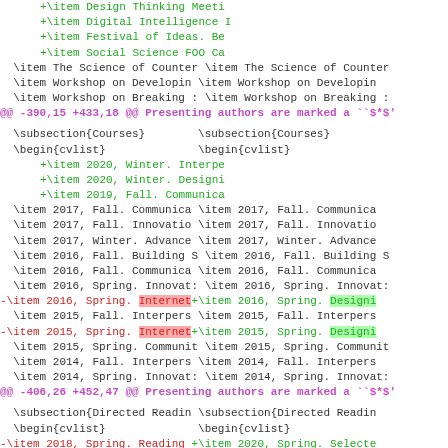diff view of a LaTeX CV file showing course and directed reading changes
+\item Design Thinking Meeti...
+\item Digital Intelligence I...
+\item Festival of Ideas. Be...
+\item Social Science FOO Ca...
\item The Science of Counter... (both columns)
\item Workshop on Developing... (both columns)
\item Workshop on Breaking :... (both columns)
@@ -390,15 +433,18 @@ Presenting authors are marked a ``$*$'
\subsection{Courses} \begin{cvlist}
+\item 2020, Winter. Interpe...
+\item 2020, Winter. Designi...
+\item 2019, Fall. Communica...
\item 2017, Fall. Communica... (both)
\item 2017, Fall. Innovatio... (both)
\item 2017, Winter. Advance... (both)
\item 2016, Fall. Building S... (both)
\item 2016, Fall. Communica... (both)
\item 2016, Spring. Innovat:... (both)
-\item 2016, Spring. Internet / +\item 2016, Spring. Designi...
\item 2015, Fall. Interpers... (both)
-\item 2015, Spring. Internet / +\item 2015, Spring. Designi...
\item 2015, Spring. Communit... (both)
\item 2014, Fall. Interpers... (both)
\item 2014, Spring. Innovat:... (both)
@@ -406,26 +452,47 @@ Presenting authors are marked a ``$*$'
\subsection{Directed Readin... \begin{cvlist}
-\item 2018, Spring. Reading / +\item 2020, Spring. Selecte...
\item 2018, Winter. Readin... / \item 2020, Winter. Readin...